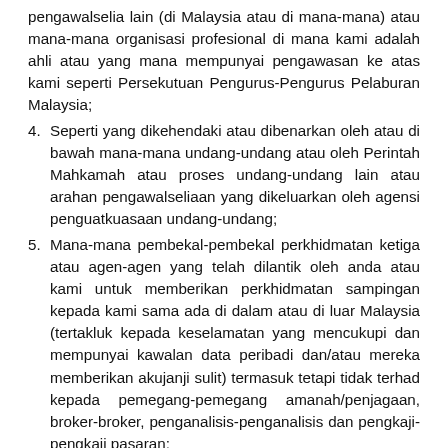pengawalselia lain (di Malaysia atau di mana-mana) atau mana-mana organisasi profesional di mana kami adalah ahli atau yang mana mempunyai pengawasan ke atas kami seperti Persekutuan Pengurus-Pengurus Pelaburan Malaysia;
4. Seperti yang dikehendaki atau dibenarkan oleh atau di bawah mana-mana undang-undang atau oleh Perintah Mahkamah atau proses undang-undang lain atau arahan pengawalseliaan yang dikeluarkan oleh agensi penguatkuasaan undang-undang;
5. Mana-mana pembekal-pembekal perkhidmatan ketiga atau agen-agen yang telah dilantik oleh anda atau kami untuk memberikan perkhidmatan sampingan kepada kami sama ada di dalam atau di luar Malaysia (tertakluk kepada keselamatan yang mencukupi dan mempunyai kawalan data peribadi dan/atau mereka memberikan akujanji sulit) termasuk tetapi tidak terhad kepada pemegang-pemegang amanah/penjagaan, broker-broker, penganalisis-penganalisis dan pengkaji-pengkaji pasaran;